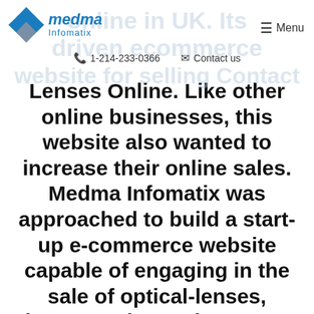Medma Infomatix | 1-214-233-0366 | Contact us | Menu
Lenses Online. Like other online businesses, this website also wanted to increase their online sales. Medma Infomatix was approached to build a start-up e-commerce website capable of engaging in the sale of optical-lenses, glasses and sun glasses. We worked with them to increase sales and providing them the best Magento